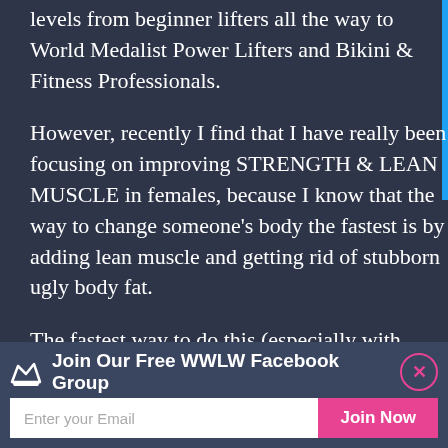levels from beginner lifters all the way to World Medalist Power Lifters and Bikini & Fitness Professionals.
However, recently I find that I have really been focusing on improving STRENGTH & LEAN MUSCLE in females, because I know that the way to change someone's body the fastest is by adding lean muscle and getting rid of stubborn ugly body fat.
The fastest way to do this (especially with women) is by
Join Our Free WWLW Facebook Group
Enter your Email
Join Now